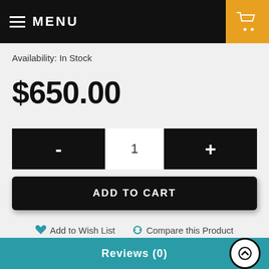MENU
Availability: In Stock
$650.00
- 1 +
ADD TO CART
Add to Wish List  Compare this Product
0 reviews / Write a review
Reviews (0)